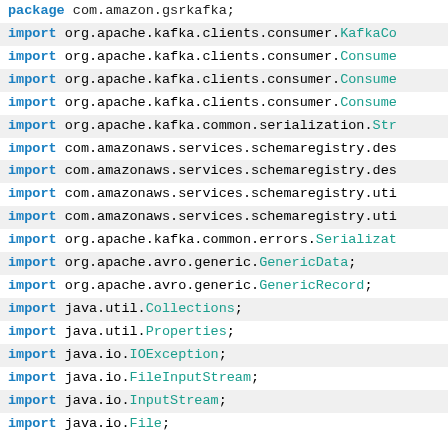package com.amazon.gsrkafka;
import org.apache.kafka.clients.consumer.KafkaCo
import org.apache.kafka.clients.consumer.Consume
import org.apache.kafka.clients.consumer.Consume
import org.apache.kafka.clients.consumer.Consume
import org.apache.kafka.common.serialization.Str
import com.amazonaws.services.schemaregistry.des
import com.amazonaws.services.schemaregistry.des
import com.amazonaws.services.schemaregistry.uti
import com.amazonaws.services.schemaregistry.uti
import org.apache.kafka.common.errors.Serializat
import org.apache.avro.generic.GenericData;
import org.apache.avro.generic.GenericRecord;
import java.util.Collections;
import java.util.Properties;
import java.io.IOException;
import java.io.FileInputStream;
import java.io.InputStream;
import java.io.File;
Using AWS Glue Schema Registry with